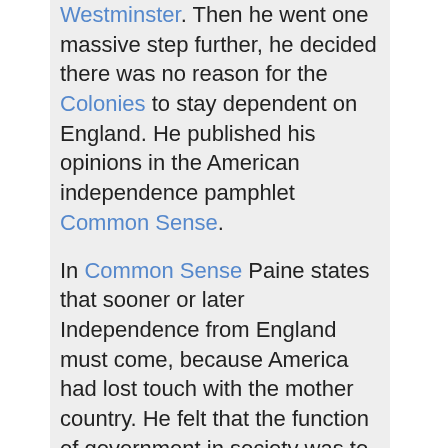Westminster. Then he went one massive step further, he decided there was no reason for the Colonies to stay dependent on England. He published his opinions in the American independence pamphlet Common Sense.
In Common Sense Paine states that sooner or later Independence from England must come, because America had lost touch with the mother country. He felt that the function of government in society was to only be a regulator, and thus pretty simple. His strong beliefs made him a major influence on the Declaration Of Independence.